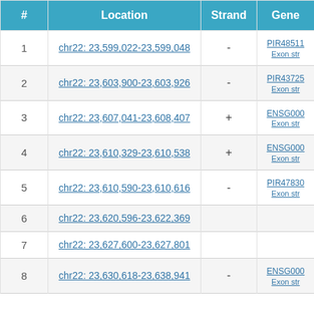| # | Location | Strand | Gene |
| --- | --- | --- | --- |
| 1 | chr22: 23,599,022-23,599,048 | - | PIR48511
Exon str |
| 2 | chr22: 23,603,900-23,603,926 | - | PIR43725
Exon str |
| 3 | chr22: 23,607,041-23,608,407 | + | ENSG000
Exon str |
| 4 | chr22: 23,610,329-23,610,538 | + | ENSG000
Exon str |
| 5 | chr22: 23,610,590-23,610,616 | - | PIR47830
Exon str |
| 6 | chr22: 23,620,596-23,622,369 |  |  |
| 7 | chr22: 23,627,600-23,627,801 |  |  |
| 8 | chr22: 23,630,618-23,638,941 | - | ENSG000
Exon str |